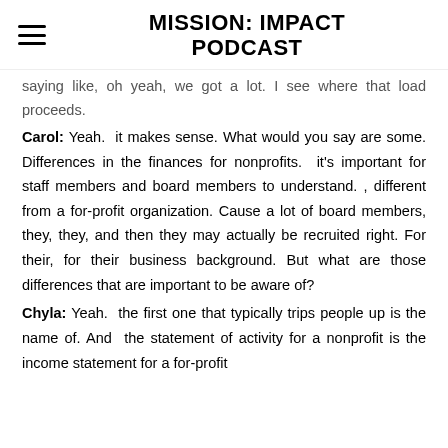MISSION: IMPACT PODCAST
saying like, oh yeah, we got a lot. I see where that load proceeds.
Carol: Yeah.  it makes sense. What would you say are some. Differences in the finances for nonprofits.  it's important for staff members and board members to understand. , different from a for-profit organization. Cause a lot of board members, they, they, and then they may actually be recruited right. For their, for their business background. But what are those differences that are important to be aware of?
Chyla: Yeah.  the first one that typically trips people up is the name of. And  the statement of activity for a nonprofit is the income statement for a for-profit